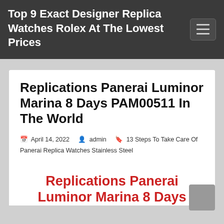Top 9 Exact Designer Replica Watches Rolex At The Lowest Prices
Replications Panerai Luminor Marina 8 Days PAM00511 In The World
April 14, 2022   admin   13 Steps To Take Care Of Panerai Replica Watches Stainless Steel
Replications Panerai Luminor Marina 8 Days